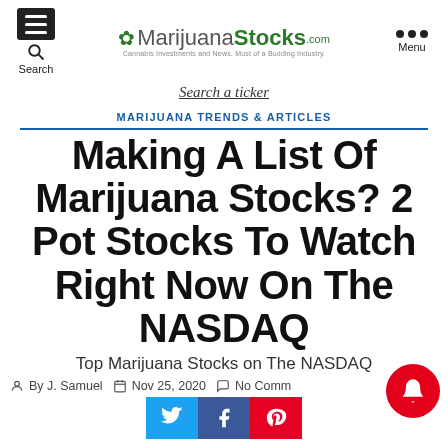MarijuanaStocks.com — Cannabis Investments and News. Most of a Budding Industry.
Search a ticker
MARIJUANA TRENDS & ARTICLES
Making A List Of Marijuana Stocks? 2 Pot Stocks To Watch Right Now On The NASDAQ
Top Marijuana Stocks on The NASDAQ
By J. Samuel   Nov 25, 2020   No Comments